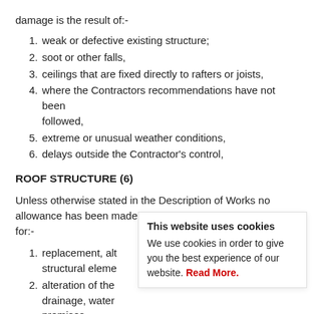damage is the result of:-
1. weak or defective existing structure;
2. soot or other falls,
3. ceilings that are fixed directly to rafters or joists,
4. where the Contractors recommendations have not been followed,
5. extreme or unusual weather conditions,
6. delays outside the Contractor's control,
ROOF STRUCTURE (6)
Unless otherwise stated in the Description of Works no allowance has been made in the Quotation by the Contractor for:-
1. replacement, alt structural eleme
2. alteration of the drainage, water premises.
This website uses cookies We use cookies in order to give you the best experience of our website. Read More.